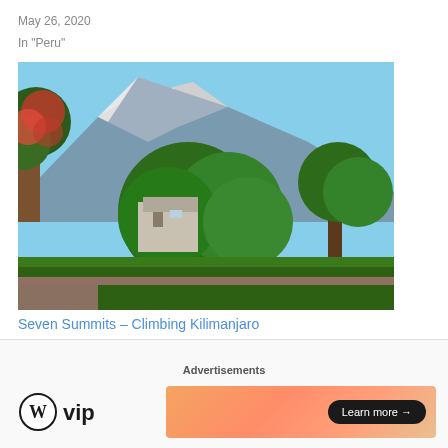May 26, 2020
In "Peru"
[Figure (photo): Mountain with snow-capped peak (Kilimanjaro) seen through tropical trees with red flowers and green canopy, blue sky background, buildings visible below.]
Seven Summits – Climbing Kilimanjaro
September 29, 2020
In "Tanzania"
[Figure (photo): Partial view of a photo with blue sky at the top portion, cropped.]
Advertisements
[Figure (logo): WordPress VIP logo (W circle icon and 'vip' text)]
[Figure (screenshot): Advertisement banner with gradient orange/salmon background and 'Learn more →' button in black rounded rectangle]